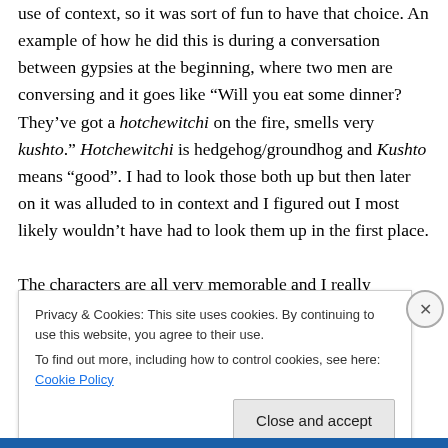use of context, so it was sort of fun to have that choice. An example of how he did this is during a conversation between gypsies at the beginning, where two men are conversing and it goes like “Will you eat some dinner? They’ve got a hotchewitchi on the fire, smells very kushto.” Hotchewitchi is hedgehog/groundhog and Kushto means “good”. I had to look those both up but then later on it was alluded to in context and I figured out I most likely wouldn’t have had to look them up in the first place.
The characters are all very memorable and I really
Privacy & Cookies: This site uses cookies. By continuing to use this website, you agree to their use.
To find out more, including how to control cookies, see here: Cookie Policy